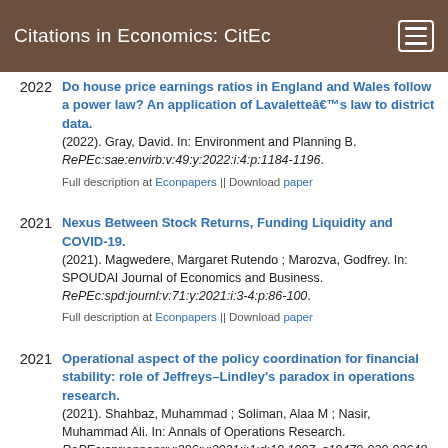Citations in Economics: CitEc
Do house price earnings ratios in England and Wales follow a power law? An application of Lavalette’s law to district data. (2022). Gray, David. In: Environment and Planning B. RePEc:sae:envirb:v:49:y:2022:i:4:p:1184-1196.
Full description at Econpapers || Download paper
Nexus Between Stock Returns, Funding Liquidity and COVID-19. (2021). Magwedere, Margaret Rutendo ; Marozva, Godfrey. In: SPOUDAI Journal of Economics and Business. RePEc:spd:journl:v:71:y:2021:i:3-4:p:86-100.
Full description at Econpapers || Download paper
Operational aspect of the policy coordination for financial stability: role of Jeffreys–Lindley’s paradox in operations research. (2021). Shahbaz, Muhammad ; Soliman, Alaa M ; Nasir, Muhammad Ali. In: Annals of Operations Research. RePEc:spr:annopr:v:306:y:2021:i:1:d:10.1007_s10479-020-03648-y.
Full description at Econpapers || Download paper